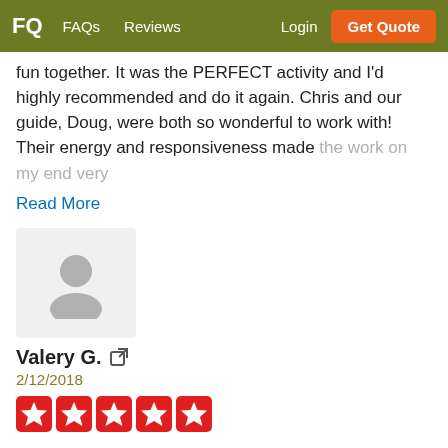FQ  FAQs  Reviews  Login  Get Quote
fun together. It was the PERFECT activity and I'd highly recommended and do it again. Chris and our guide, Doug, were both so wonderful to work with! Their energy and responsiveness made the work on my end very
Read More
[Figure (illustration): Generic user avatar placeholder icon showing a person silhouette]
Valery G. [external link icon]
2/12/2018
[Figure (other): Five red star rating icons]
WOW what an awesome team building activity it was! Our team has traveled a lot, and participated in many activities, but this one was the best! The technology worked perfectly, and everything went smoothly!